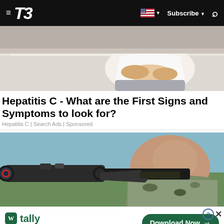T3 — Subscribe
[Figure (photo): Person in white clothing sitting on a bed, hands on their midsection suggesting abdominal pain]
Hepatitis C - What are the First Signs and Symptoms to look for?
Hepatitis C | Search Ads | Sponsored
[Figure (photo): Close-up of a person aiming a sniper rifle with scope, military game screenshot]
[Figure (infographic): Tally app advertisement banner: tally logo, Fast credit card payoff, Download Now button]